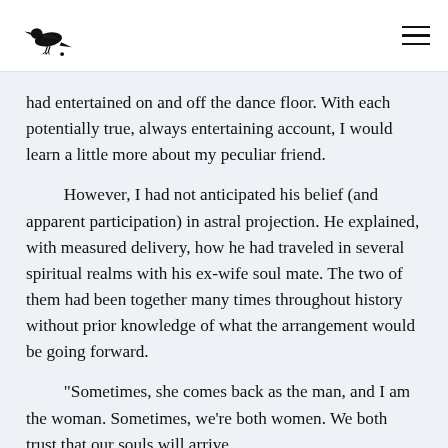[bird logo] [hamburger menu]
had entertained on and off the dance floor. With each potentially true, always entertaining account, I would learn a little more about my peculiar friend.
However, I had not anticipated his belief (and apparent participation) in astral projection. He explained, with measured delivery, how he had traveled in several spiritual realms with his ex-wife soul mate. The two of them had been together many times throughout history without prior knowledge of what the arrangement would be going forward.
"Sometimes, she comes back as the man, and I am the woman. Sometimes, we're both women. We both trust that our souls will arrive